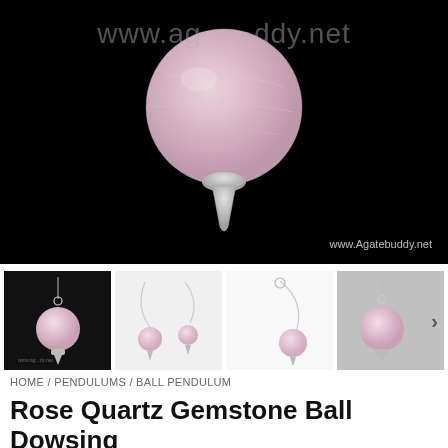[Figure (photo): Large product photo of a rose quartz gemstone ball dowsing pendulum on a black background. A pale pink spherical ball sits on top of a silver pointed cone/cap. The website watermark 'www.agatebuddy.net' is visible at the top and bottom right reads 'www.Agatebuddy.net'.]
[Figure (photo): Thumbnail 1: Rose quartz ball pendulum with chain on black background, small watermark visible.]
[Figure (photo): Thumbnail 2: Two rose quartz ball pendulums with chain on light background.]
[Figure (photo): Thumbnail 3: Rose quartz ball pendulum with chain on white background.]
[Figure (photo): Thumbnail 4: Rose quartz ball pendulum with chain on grey background with next arrow.]
HOME / PENDULUMS / BALL PENDULUM
Rose Quartz Gemstone Ball Dowsing